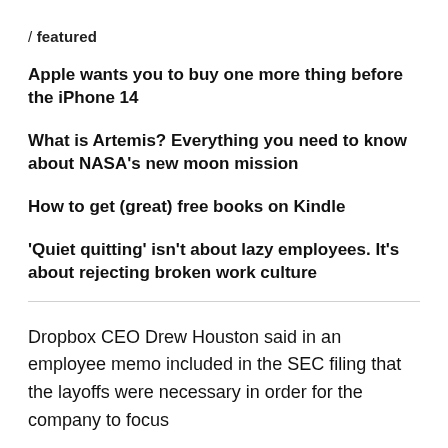/ featured
Apple wants you to buy one more thing before the iPhone 14
What is Artemis? Everything you need to know about NASA's new moon mission
How to get (great) free books on Kindle
'Quiet quitting' isn't about lazy employees. It's about rejecting broken work culture
Dropbox CEO Drew Houston said in an employee memo included in the SEC filing that the layoffs were necessary in order for the company to focus